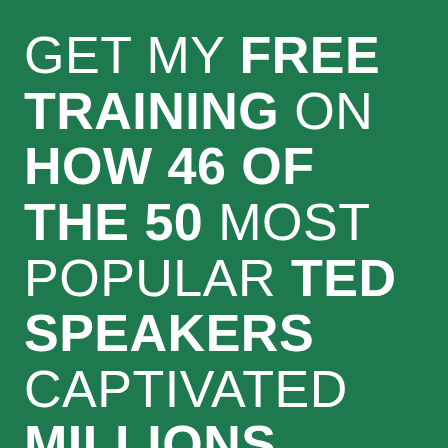GET MY FREE TRAINING ON HOW 46 OF THE 50 MOST POPULAR TED SPEAKERS CAPTIVATED MILLIONS...
Most speakers assume they must provide lots of good information. This is not what the stars of the TED stage do. Enter your best name and email below to find out the KEY